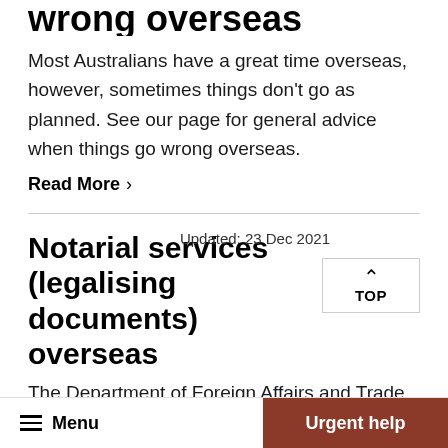wrong overseas
Most Australians have a great time overseas, however, sometimes things don't go as planned. See our page for general advice when things go wrong overseas.
Read More >
Notarial services (legalising documents) overseas
Updated: 23 Dec 2021
The Department of Foreign Affairs and Trade provides notarial services. We deal in...
Menu  Urgent help